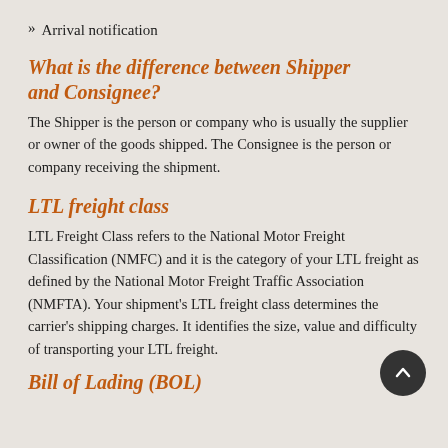» Arrival notification
What is the difference between Shipper and Consignee?
The Shipper is the person or company who is usually the supplier or owner of the goods shipped. The Consignee is the person or company receiving the shipment.
LTL freight class
LTL Freight Class refers to the National Motor Freight Classification (NMFC) and it is the category of your LTL freight as defined by the National Motor Freight Traffic Association (NMFTA). Your shipment's LTL freight class determines the carrier's shipping charges. It identifies the size, value and difficulty of transporting your LTL freight.
Bill of Lading (BOL)